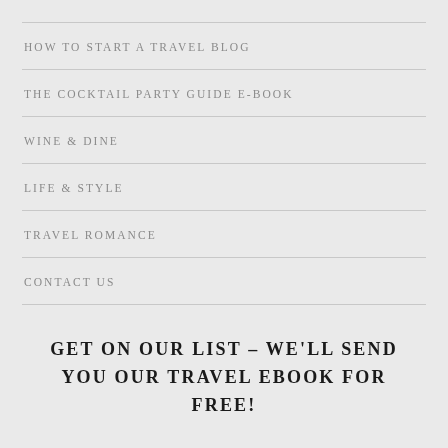HOW TO START A TRAVEL BLOG
THE COCKTAIL PARTY GUIDE E-BOOK
WINE & DINE
LIFE & STYLE
TRAVEL ROMANCE
CONTACT US
GET ON OUR LIST – WE'LL SEND YOU OUR TRAVEL EBOOK FOR FREE!